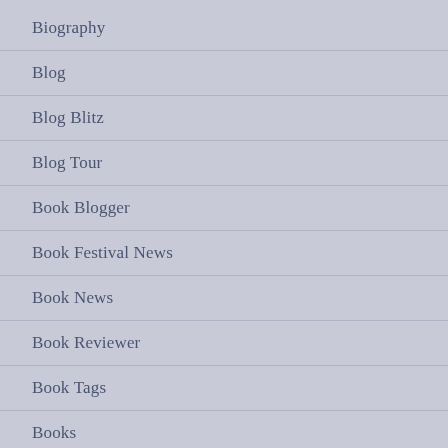Biography
Blog
Blog Blitz
Blog Tour
Book Blogger
Book Festival News
Book News
Book Reviewer
Book Tags
Books
BorrowBox